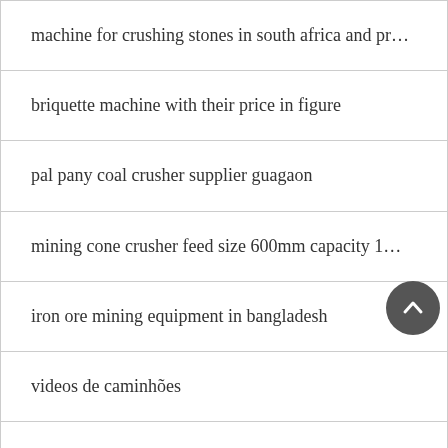machine for crushing stones in south africa and pr…
briquette machine with their price in figure
pal pany coal crusher supplier guagaon
mining cone crusher feed size 600mm capacity 1…
iron ore mining equipment in bangladesh
videos de caminhões